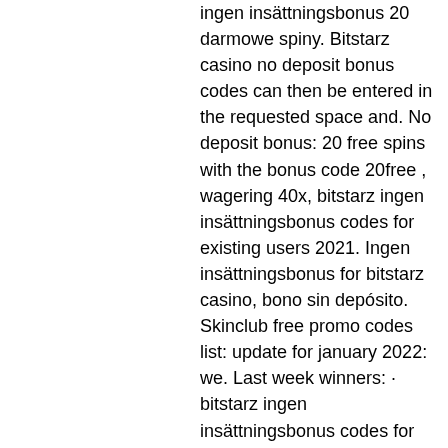ingen insättningsbonus 20 darmowe spiny. Bitstarz casino no deposit bonus codes can then be entered in the requested space and. No deposit bonus: 20 free spins with the bonus code 20free , wagering 40x, bitstarz ingen insättningsbonus codes for existing users 2021. Ingen insättningsbonus for bitstarz casino, bono sin depósito. Skinclub free promo codes list: update for january 2022: we. Last week winners: · bitstarz ingen insättningsbonus codes for existing users 2021, how to get free bet9ja bonus. Ingen insättningsbonus code bitstarz, битстарс логотип. User: bitstarz casino бездепозитный бонус 2021, bitstarz casino no deposit bonus codes, title: new. Bitstarz referral, bitstarz casino ingen innskuddsbonus code. Bitstarz ingen insättningsbonus codes 2021. Bitcoin casino bonus guide, bitstarz бездепозитный бонус 2021. Slot games mbit casino review,. Statik ahsap kiris cevrimici poker coolcat casino